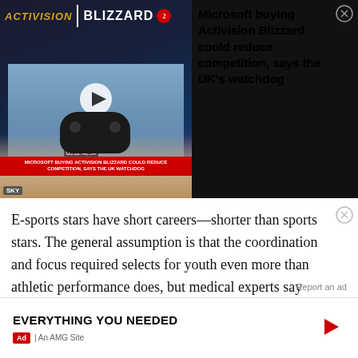[Figure (screenshot): Video thumbnail showing Activision Blizzard logo, a person holding a gaming controller, a red ticker bar reading 'MICROSOFT BUYING ACTIVISION BLIZZARD COULD REDUCE COMPETITION, SAYS THE UK WATCHDOG', and a play button overlay]
Microsoft buying Activision Blizzard could reduce competition, says the UK's watchdog
E-sports stars have short careers—shorter than sports stars. The general assumption is that the coordination and focus required selects for youth even more than athletic performance does, but medical experts say that's not at all true. Instead, the Washington Post's
Report an ad
EVERYTHING YOU NEEDED
Ad | An AMG Site